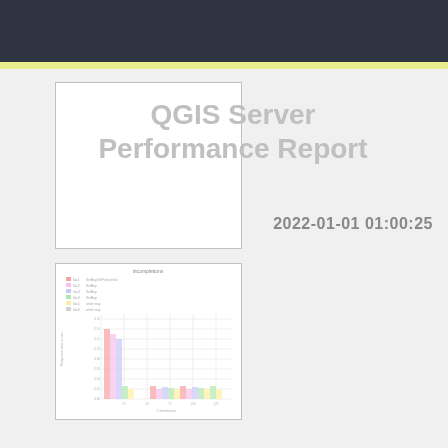QGIS Server Performance Report
2022-01-01 01:00:25
[Figure (bar-chart): QGIS Server performance bar chart showing response time vs. number of requests for multiple configurations]